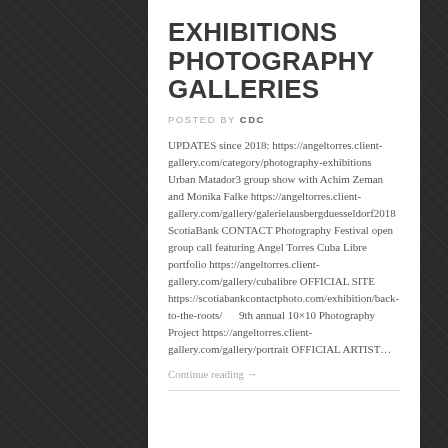EXHIBITIONS PHOTOGRAPHY GALLERIES
POSTED BY CDC
UPDATES since 2018: https://angeltorres.client-gallery.com/category/photography-exhibitions      Urban Matador3 group show with Achim Zeman and Monika Falke https://angeltorres.client-gallery.com/gallery/galerielausbergduesseldorf2018 ScotiaBank CONTACT Photography Festival open group call featuring Angel Torres Cuba Libre portfolio https://angeltorres.client-gallery.com/gallery/cubalibre OFFICIAL SITE https://scotiabankcontactphoto.com/exhibition/back-to-the-roots/     9th annual 10×10 Photography Project https://angeltorres.client-gallery.com/gallery/portrait OFFICIAL ARTIST…
Continue reading →